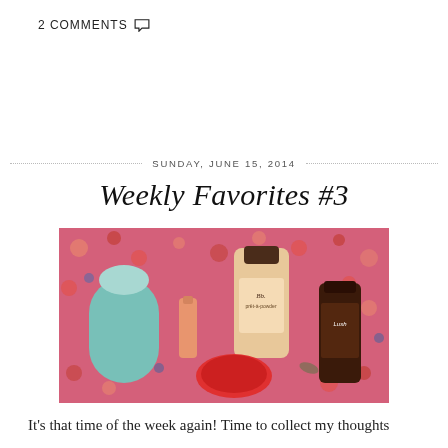2 COMMENTS ○
SUNDAY, JUNE 15, 2014
Weekly Favorites #3
[Figure (photo): Flat lay photo of beauty products on a floral fabric background: a teal facial cleansing device, a small orange/salmon tube, a bottle of Bumble and bumble prêt-à-powder dry shampoo, a red compact, and a dark brown bottle of Lush product.]
It's that time of the week again! Time to collect my thoughts